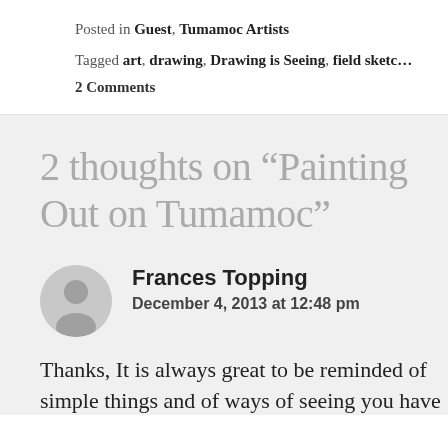Posted in Guest, Tumamoc Artists
Tagged art, drawing, Drawing is Seeing, field sketc…
2 Comments
2 thoughts on “Painting Out on Tumamoc”
Frances Topping
December 4, 2013 at 12:48 pm
Thanks, It is always great to be reminded of simple things and of ways of seeing you have